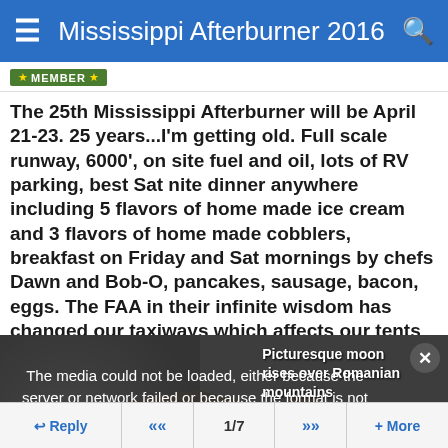Mississippi Afterburner 2016
[Figure (screenshot): Member badge with green background and stars]
The 25th Mississippi Afterburner will be April 21-23. 25 years...I'm getting old. Full scale runway, 6000', on site fuel and oil, lots of RV parking, best Sat nite dinner anywhere including 5 flavors of home made ice cream and 3 flavors of home made cobblers, breakfast on Friday and Sat mornings by chefs Dawn and Bob-O, pancakes, sausage, bacon, eggs. The FAA in their infinite wisdom has changed our taxiways which affects our tents so if you want a commercial tent, call me so I can tell you the set up. 601-955-3826. This event is a fundraiser for the A&P dept of the college who owns the
[Figure (photo): Picturesque moon rises over Romanian mountains - media failed to load overlay shown]
Picturesque moon rises over Romanian mountains
Reply  <<  1/7  >>  + More